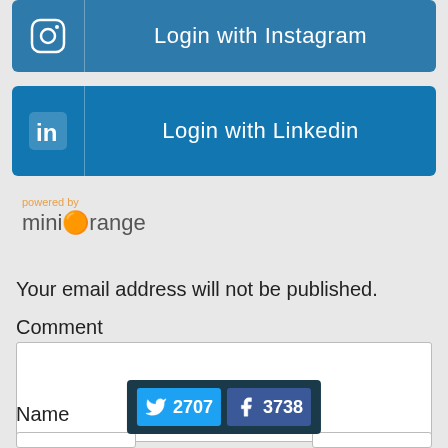[Figure (screenshot): Login with Instagram button — blue rounded rectangle with Instagram icon on left and text 'Login with Instagram']
[Figure (screenshot): Login with Linkedin button — blue rounded rectangle with LinkedIn icon on left and text 'Login with Linkedin']
[Figure (logo): powered by miniOrange logo with orange circle in the 'O']
Your email address will not be published.
Comment
[Figure (screenshot): Comment textarea — empty white text area input box]
[Figure (infographic): Social share bar showing Twitter count 2707 and Facebook count 3738 on dark background]
Name